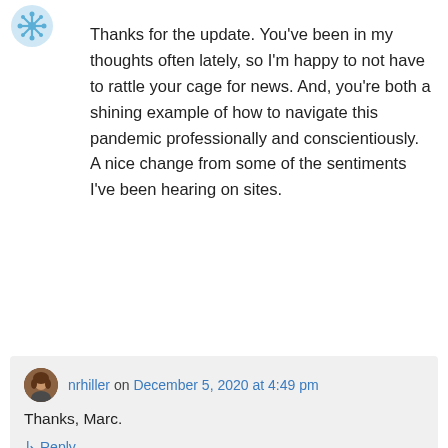[Figure (illustration): Small blue snowflake/flower avatar icon in top left corner]
Thanks for the update. You've been in my thoughts often lately, so I'm happy to not have to rattle your cage for news. And, you're both a shining example of how to navigate this pandemic professionally and conscientiously. A nice change from some of the sentiments I've been hearing on sites.
↳ Reply
[Figure (photo): Small circular avatar photo of a person (nrhiller) with brown hair]
nrhiller on December 5, 2020 at 4:49 pm
Thanks, Marc.
↳ Reply